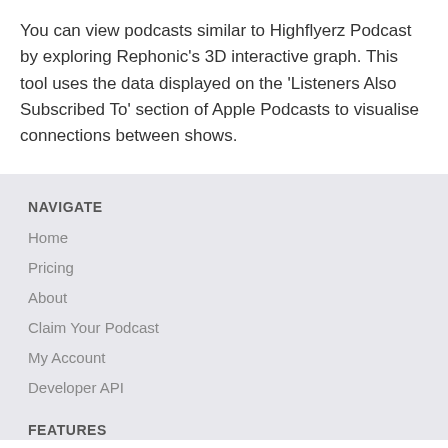You can view podcasts similar to Highflyerz Podcast by exploring Rephonic's 3D interactive graph. This tool uses the data displayed on the 'Listeners Also Subscribed To' section of Apple Podcasts to visualise connections between shows.
NAVIGATE
Home
Pricing
About
Claim Your Podcast
My Account
Developer API
FEATURES
Overview